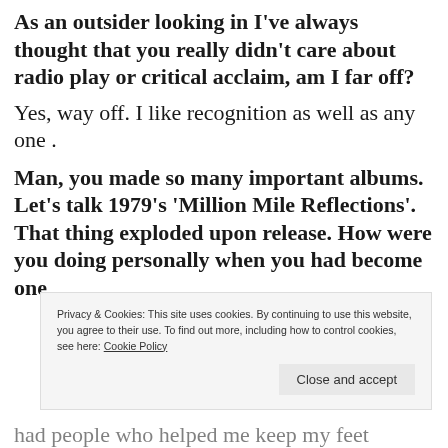As an outsider looking in I've always thought that you really didn't care about radio play or critical acclaim, am I far off?
Yes, way off. I like recognition as well as any one .
Man, you made so many important albums. Let's talk 1979's 'Million Mile Reflections'. That thing exploded upon release. How were you doing personally when you had become one
Privacy & Cookies: This site uses cookies. By continuing to use this website, you agree to their use. To find out more, including how to control cookies, see here: Cookie Policy
Close and accept
had people who helped me keep my feet